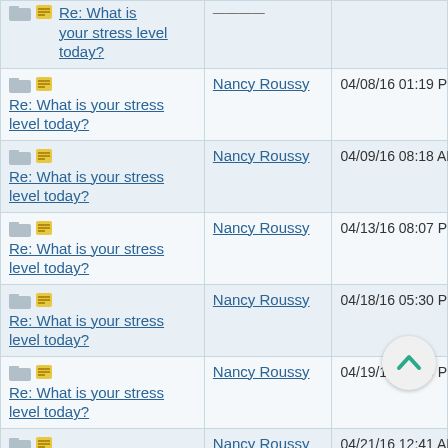| Subject | Author | Date |
| --- | --- | --- |
| Re: What is your stress level today? | (partial/cut off) | (cut off) |
| Re: What is your stress level today? | Nancy Roussy | 04/08/16 01:19 PM |
| Re: What is your stress level today? | Nancy Roussy | 04/09/16 08:18 AM |
| Re: What is your stress level today? | Nancy Roussy | 04/13/16 08:07 PM |
| Re: What is your stress level today? | Nancy Roussy | 04/18/16 05:30 PM |
| Re: What is your stress level today? | Nancy Roussy | 04/19/16 11:25 PM |
| Re: What is your stress level today? | Nancy Roussy | 04/21/16 12:41 AM |
| Re: What is your stress level today? | Nancy Roussy | 04/21/16 10:56 PM |